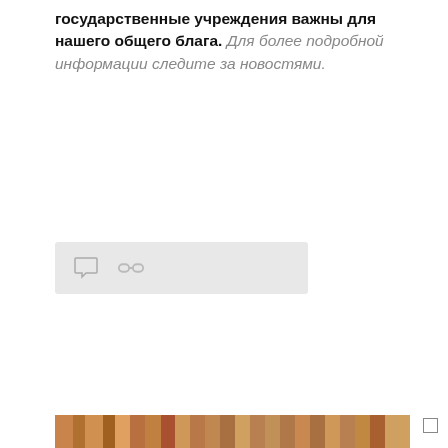государственные учреждения важны для нашего общего блага. Для более подробной информации следите за новостями.
[Figure (screenshot): Social media post icons bar showing comment and link/share icons on a light grey background]
[Figure (photo): Webinar promotional card with blue background. Top strip shows city buildings photo. Text reads: 'navirus pandemic affect municipal' and 'Global Outlook' on first section, then 'Webinar July 2 (Thursday), 2020' with time partially visible. Checkboxes on the right side.]